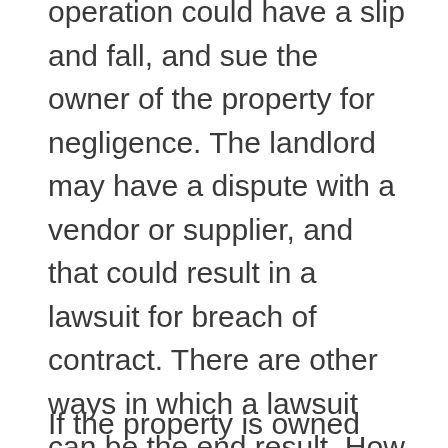operation could have a slip and fall, and sue the owner of the property for negligence. The landlord may have a dispute with a vendor or supplier, and that could result in a lawsuit for breach of contract. There are other ways in which a lawsuit can be the end result. How or why the suit is filed is not our focus. Rather, the focus is on one step that can be taken to limit the landlord’s liability exposure – – – have the rental property owned by an LLC.
If the property is owned directly by the